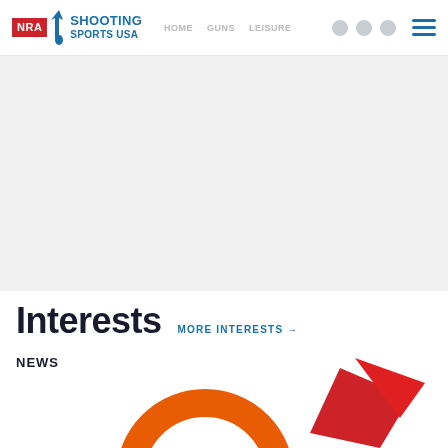NRA Shooting Sports USA
Interests
MORE INTERESTS →
NEWS
[Figure (illustration): Partial illustration at bottom showing orange circle/target shape and red angular shape, likely a shooting sports graphic]